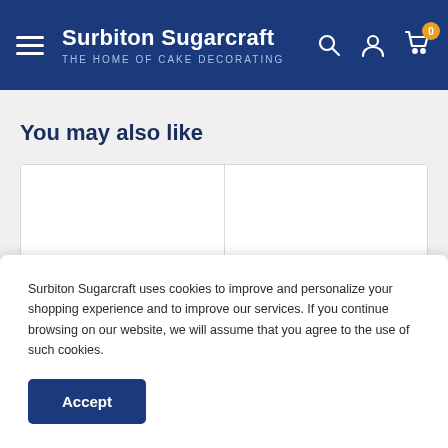Surbiton Sugarcraft — THE HOME OF CAKE DECORATING
You may also like
[Figure (other): Product cards area showing two product card placeholders side by side]
Surbiton Sugarcraft uses cookies to improve and personalize your shopping experience and to improve our services. If you continue browsing on our website, we will assume that you agree to the use of such cookies.
Accept